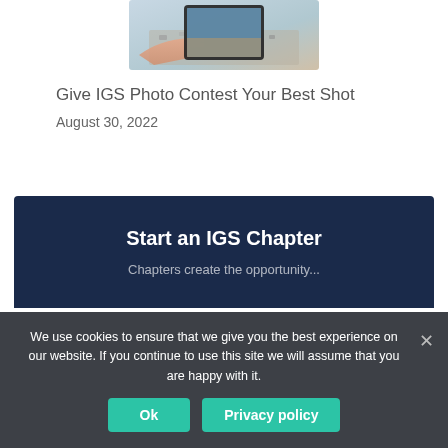[Figure (photo): Photo of a hand holding a smartphone photographing a sandy/rocky surface outdoors, partially visible at top of page]
Give IGS Photo Contest Your Best Shot
August 30, 2022
[Figure (infographic): Dark navy blue banner section with white bold heading 'Start an IGS Chapter' and partial subtitle text 'Chapters create the opportunity...']
We use cookies to ensure that we give you the best experience on our website. If you continue to use this site we will assume that you are happy with it.
Ok
Privacy policy